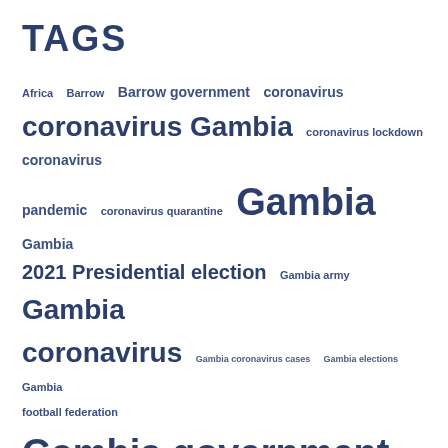TAGS
Africa  Barrow  Barrow government  coronavirus  coronavirus Gambia  coronavirus lockdown  coronavirus pandemic  coronavirus quarantine  Gambia  Gambia 2021 Presidential election  Gambia army  Gambia coronavirus  Gambia coronavirus cases  Gambia elections  Gambia football federation  Gambia government  Gambia health ministry  Gambia health sector  Gambia lockdown  Gambia media  Gambia news  Gambia news online  Gambia news today  Gambian migrants  Gambia Police  Gambia